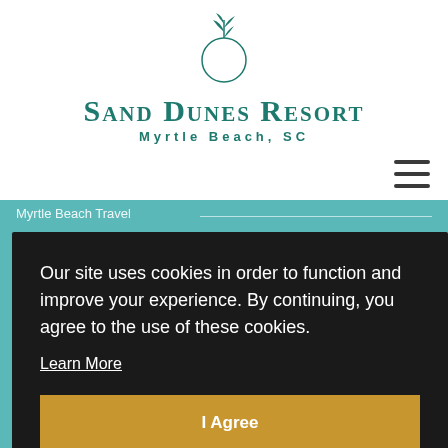[Figure (logo): Sand Dunes Resort logo with circular botanical illustration above the resort name]
Sand Dunes Resort
Myrtle Beach, SC
Myrtle Beach Travel
Our site uses cookies in order to function and improve your experience. By continuing, you agree to the use of these cookies.
Learn More
I Agree